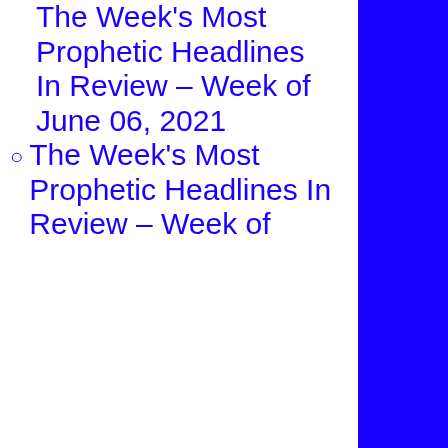The Week's Most Prophetic Headlines In Review – Week of June 06, 2021
The Week's Most Prophetic Headlines In Review – Week of